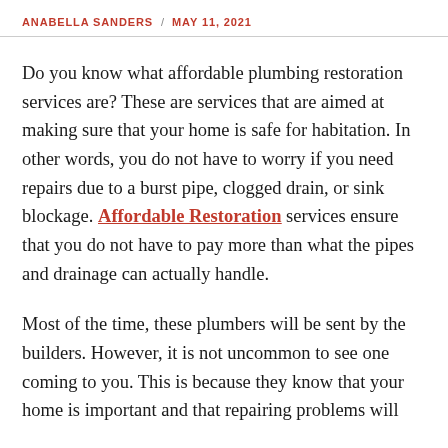ANABELLA SANDERS / MAY 11, 2021
Do you know what affordable plumbing restoration services are? These are services that are aimed at making sure that your home is safe for habitation. In other words, you do not have to worry if you need repairs due to a burst pipe, clogged drain, or sink blockage. Affordable Restoration services ensure that you do not have to pay more than what the pipes and drainage can actually handle.
Most of the time, these plumbers will be sent by the builders. However, it is not uncommon to see one coming to you. This is because they know that your home is important and that repairing problems will